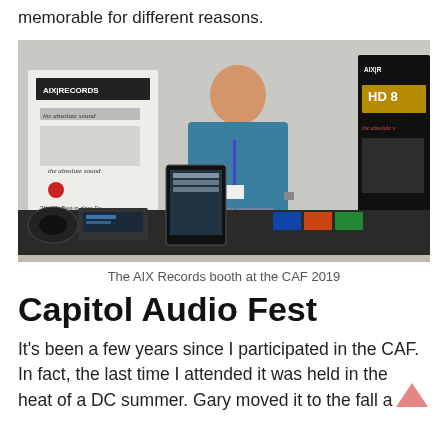memorable for different reasons.
[Figure (photo): A man standing behind a display booth for AIX Records at the CAF 2019 audio conference. The booth has banners, a tablet, audio equipment, headphones, and CDs/Blu-rays on the table. Banners display 'AIX Records', 'HD', and quotes from 'the absolute sound'.]
The AIX Records booth at the CAF 2019
Capitol Audio Fest
It's been a few years since I participated in the CAF. In fact, the last time I attended it was held in the heat of a DC summer. Gary moved it to the fall a